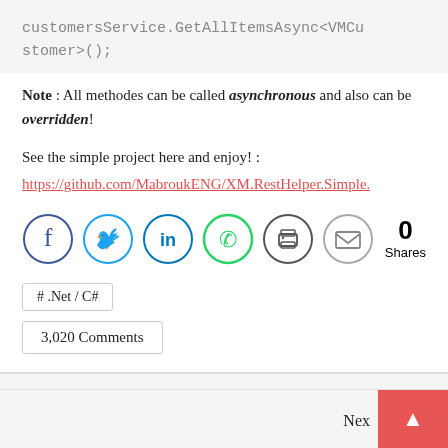customersService.GetAllItemsAsync<VMCustomer>();
Note : All methodes can be called asynchronous and also can be overridden!
See the simple project here and enjoy! :
https://github.com/MabroukENG/XM.RestHelper.Simple.
[Figure (infographic): Social share icons: Facebook (blue circle), Twitter (blue circle), LinkedIn (blue circle), WhatsApp (green circle), Print (dark circle), Email (gray circle), and share count showing 0 Shares]
# .Net / C#
3,020 Comments
Nex